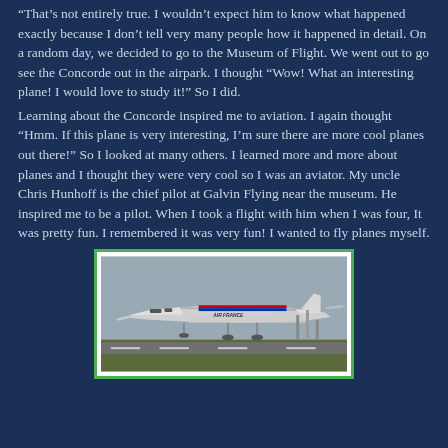“That’s not entirely true. I wouldn’t expect him to know what happened exactly because I don’t tell very many people how it happened in detail. On a random day, we decided to go to the Museum of Flight. We went out to go see the Concorde out in the airpark. I thought “Wow! What an interesting plane! I would love to study it!” So I did.
Learning about the Concorde inspired me to aviation. I again thought “Hmm. If this plane is very interesting, I’m sure there are more cool planes out there!” So I looked at many others. I learned more and more about planes and I thought they were very cool so I was an aviator. My uncle Chris Hunhoff is the chief pilot at Galvin Flying near the museum. He inspired me to be a pilot. When I took a flight with him when I was four, It was pretty fun. I remembered it was very fun! I wanted to fly planes myself.
[Figure (photo): Photograph of an Air France Concorde supersonic aircraft on a runway, shown in profile with its distinctive delta wing and drooped nose. Sky visible in background with some ground/grass in foreground.]